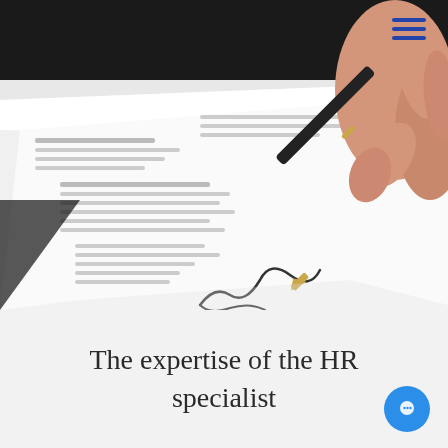[Figure (photo): A close-up photo of a hand holding a fountain pen, signing a document with Lorem Ipsum placeholder text visible on the paper. The document rests on a dark surface.]
The expertise of the HR specialist